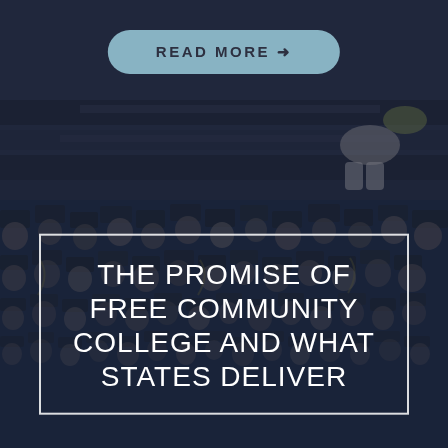[Figure (photo): Top half: dark-toned photo of a child in graduation-like setting, sitting on steps; semi-transparent dark overlay. A 'READ MORE →' button overlaid on top.]
READ MORE →
[Figure (photo): Bottom half: dark-toned photo of a large crowd of graduates in black caps and gowns at a commencement ceremony, with semi-transparent dark blue overlay.]
THE PROMISE OF FREE COMMUNITY COLLEGE AND WHAT STATES DELIVER